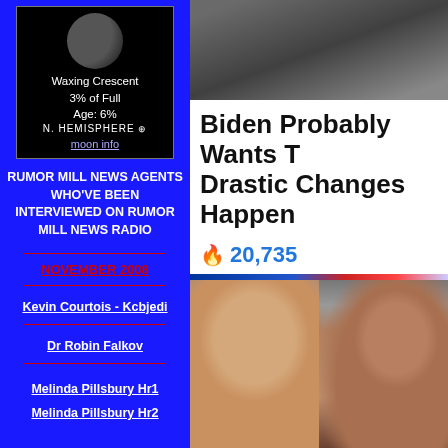[Figure (screenshot): Moon phase widget showing Waxing Crescent 3% of Full, Age: 6%, N. Hemisphere, with moon info link]
Waxing Crescent
3% of Full
Age: 6%
N. HEMISPHERE
moon info
RUMOR MILL NEWS AGENTS WHO'VE BEEN INTERVIEWED ON RUMOR MILL NEWS RADIO
NOVEMBER 2008
Kevin Courtois - Kcbjedi
Dr Robin Falkov
Melinda Pillsbury Hr1
Melinda Pillsbury Hr2
[Figure (photo): Top photo strip: dark image at top of right column]
Biden Probably Wants T... Drastic Changes Happen...
🔥 20,735
[Figure (photo): Photo of Joe Biden (left) and Kamala Harris (right) side by side]